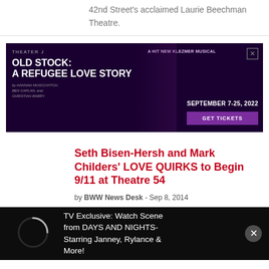42nd Street's acclaimed Laurie Beechman Theatre.
[Figure (infographic): Theater J advertisement for 'Old Stock: A Refugee Love Story' - A Hit New Klezmer Musical, September 7-25, 2022, Get Tickets button, featuring performer with pink hair and top hat]
Seth Bisen-Hersh and Mark Childers' LOVE QUIRKS to Begin 9/11 at Theatre 54
by BWW News Desk - Sep 8, 2014
[Figure (screenshot): Video overlay with loading spinner and text: TV Exclusive: Watch Scene from DAYS AND NIGHTS- Starring Janney, Rylance & More!]